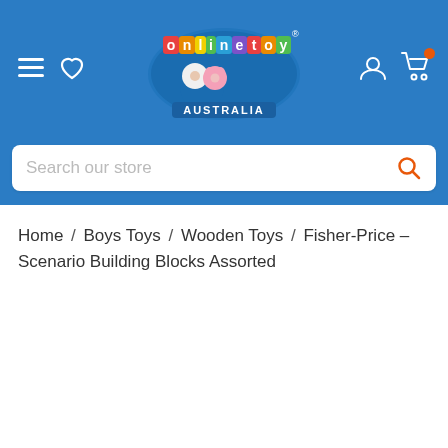Online Toys Australia - Header navigation with logo, hamburger menu, wishlist, account and cart icons
Search our store
Home / Boys Toys / Wooden Toys / Fisher-Price - Scenario Building Blocks Assorted